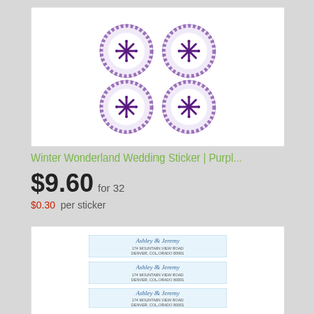[Figure (photo): Four round purple snowflake wedding stickers arranged in a 2x2 grid on a white card background]
Winter Wonderland Wedding Sticker | Purpl...
$9.60 for 32
$0.30 per sticker
[Figure (photo): Three light blue winter-themed address label strips with cursive text 'Ashley & Jeremy' and address details, arranged vertically on a white card background]